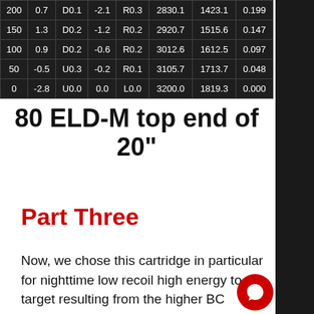| 200 | 0.7 | D0.1 | -2.1 | R0.3 | 2830.1 | 1423.1 | 0.199 |
| 150 | 1.3 | D0.2 | -1.2 | R0.2 | 2920.7 | 1515.6 | 0.147 |
| 100 | 0.9 | D0.2 | -0.6 | R0.2 | 3012.6 | 1612.5 | 0.097 |
| 50 | -0.5 | U0.3 | -0.2 | R0.1 | 3105.7 | 1713.7 | 0.048 |
| 0 | -2.8 | U0.0 | 0.0 | L0.0 | 3200.0 | 1819.3 | 0.000 |
80 ELD-M top end of 20"
Part Three
Now, we chose this cartridge in particular for nighttime low recoil high energy to target resulting from the higher BC bullets it was set to shoot. Referencing the chart below